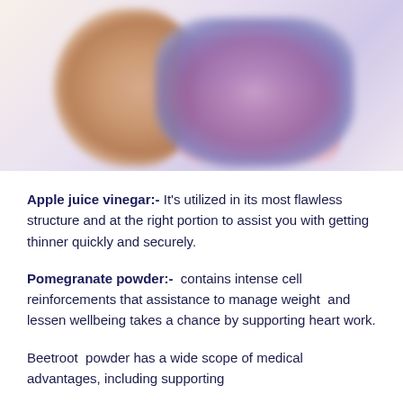[Figure (photo): Blurred product photo showing supplement bottles (pink/purple) alongside what appears to be food items on the left side]
Apple juice vinegar:- It's utilized in its most flawless structure and at the right portion to assist you with getting thinner quickly and securely.
Pomegranate powder:-  contains intense cell reinforcements that assistance to manage weight  and lessen wellbeing takes a chance by supporting heart work.
Beetroot  powder has a wide scope of medical advantages, including supporting